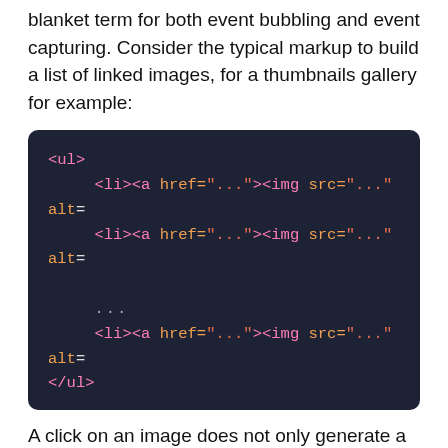blanket term for both event bubbling and event capturing. Consider the typical markup to build a list of linked images, for a thumbnails gallery for example:
[Figure (screenshot): Dark code block showing HTML markup for an unordered list of linked images: <ul> with several <li><a href="..."><img src="..." alt: lines and </ul>]
A click on an image does not only generate a click event for the corresponding IMG element, but also for the parent A, for the